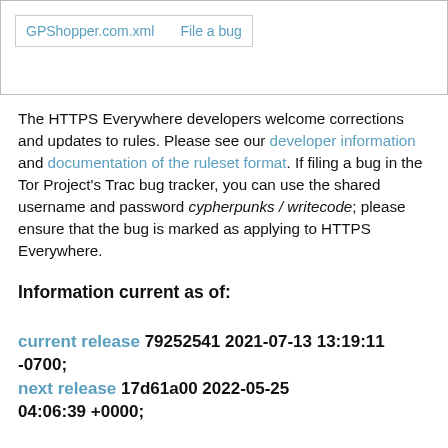[Figure (screenshot): A UI box with links: 'GPShopper.com.xml' and 'File a bug' in blue link text]
The HTTPS Everywhere developers welcome corrections and updates to rules. Please see our developer information and documentation of the ruleset format. If filing a bug in the Tor Project's Trac bug tracker, you can use the shared username and password cypherpunks / writecode; please ensure that the bug is marked as applying to HTTPS Everywhere.
Information current as of:
current release 79252541 2021-07-13 13:19:11 -0700;
next release 17d61a00 2022-05-25 04:06:39 +0000;